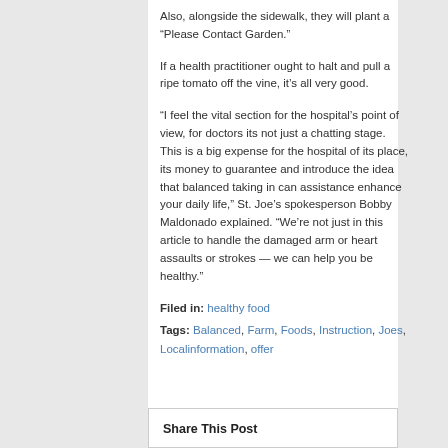Also, alongside the sidewalk, they will plant a “Please Contact Garden.”
If a health practitioner ought to halt and pull a ripe tomato off the vine, it’s all very good.
“I feel the vital section for the hospital’s point of view, for doctors its not just a chatting stage. This is a big expense for the hospital of its place, its money to guarantee and introduce the idea that balanced taking in can assistance enhance your daily life,” St. Joe’s spokesperson Bobby Maldonado explained. “We’re not just in this article to handle the damaged arm or heart assaults or strokes — we can help you be healthy.”
Filed in: healthy food
Tags: Balanced, Farm, Foods, Instruction, Joes, Localinformation, offer
Share This Post